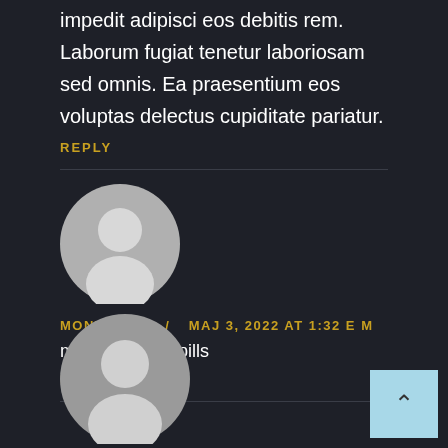impedit adipisci eos debitis rem. Laborum fugiat tenetur laboriosam sed omnis. Ea praesentium eos voluptas delectus cupiditate pariatur.
REPLY
MONTEKAR  /  MAJ 3, 2022 AT 1:32 E M
mens erection pills
REPLY
[Figure (illustration): Generic user avatar circle at bottom of page, partially cut off]